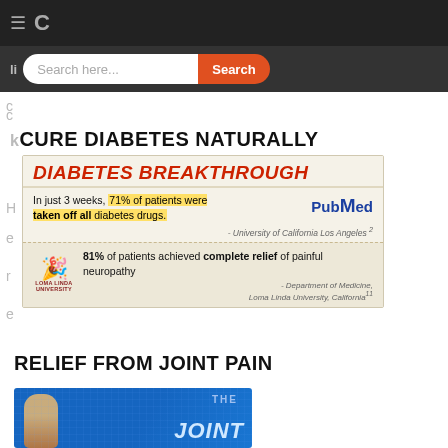≡  C
Search here...
CURE DIABETES NATURALLY
[Figure (infographic): Diabetes Breakthrough advertisement image showing: headline 'DIABETES BREAKTHROUGH' in red italic bold text, a torn-paper snippet citing 'In just 3 weeks, 71% of patients were taken off all diabetes drugs.' attributed to University of California Los Angeles, with PubMed logo; below that another torn-paper snippet with Loma Linda University crest stating '81% of patients achieved complete relief of painful neuropathy' attributed to Department of Medicine, Loma Linda University, California.]
RELIEF FROM JOINT PAIN
[Figure (photo): Partial view of a book cover titled 'THE JOINT' with blue digital background and a figure of a human body on the left side.]